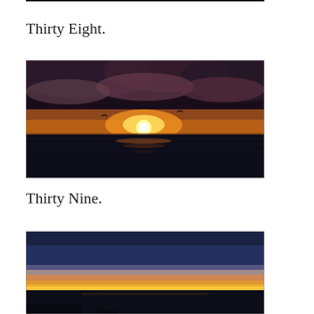Thirty Eight.
[Figure (photo): A dramatic ocean sunset with a bright yellow-orange sun near the horizon, dark stormy clouds above, and dark water below. The sky glows orange and amber around the sun.]
Thirty Nine.
[Figure (photo): A coastal sunset scene with a deep blue sky above and a glowing orange-yellow horizon band near the waterline. Dark silhouettes of land or structures visible at the bottom.]